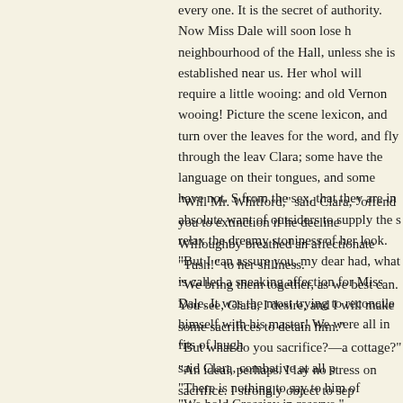every one. It is the secret of authority. Now Miss Dale will soon lose h neighbourhood of the Hall, unless she is established near us. Her whol will require a little wooing: and old Vernon wooing! Picture the scene lexicon, and turn over the leaves for the word, and fly through the leav Clara; some have the language on their tongues, and some have not. S from the sex, that they are in absolute want of outsiders to supply the s relax the dreamy stoniness of her look. "But I can assure you, my dear had, what is called a sneaking affection for Miss Dale. It was the most trying to reconcile himself with his master! We were all in fits of laugh
"Will Mr. Whitford," said Clara, "offend you to extinction if he decline
Willoughby breathed an affectionate "Tush!" to her silliness.
"We bring them together, as we best can. You see, Clara, I desire, and I will make some sacrifices to detain him."
"But what do you sacrifice?—a cottage?" said Clara, combative at all p
"An ideal, perhaps. I lay no stress on sacrifice. I strongly object to sep influence to good service, my love. I believe you could persuade him t
"There is nothing to say to him of Crossjay?"
"We hold Crossjay in reserve."